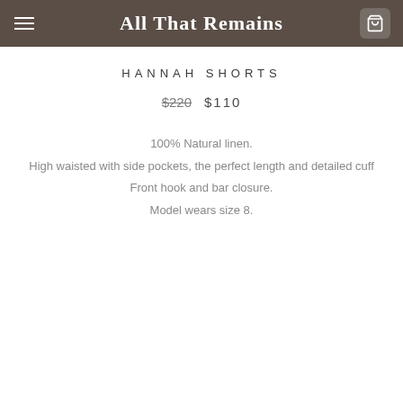All That Remains
HANNAH SHORTS
$220  $110
100% Natural linen.
High waisted with side pockets, the perfect length and detailed cuff
Front hook and bar closure.
Model wears size 8.